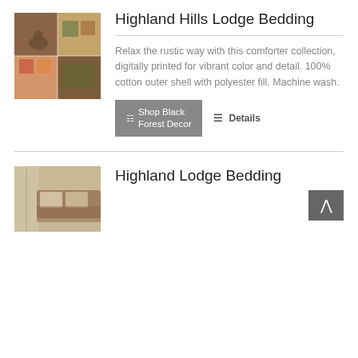[Figure (photo): Lodge bedding set with rustic patterns, featuring wildlife motifs in warm earth tones]
Highland Hills Lodge Bedding
Relax the rustic way with this comforter collection, digitally printed for vibrant color and detail. 100% cotton outer shell with polyester fill. Machine wash.
Shop Black Forest Decor
Details
[Figure (photo): Highland Lodge Bedding product photo showing rustic bedroom setting]
Highland Lodge Bedding